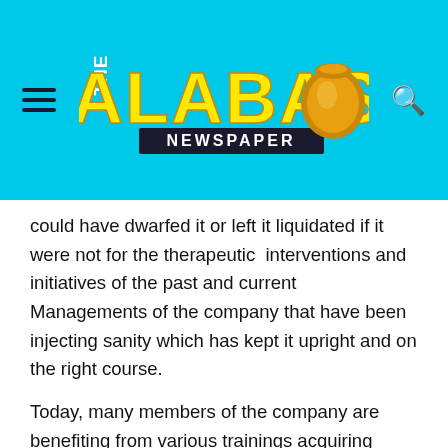[Figure (logo): The Calabash Newspaper logo with cyan background, yellow bold text 'CALABASH' with 'THE' vertically on the left, 'NEWSPAPER' below, and a golden calabash icon on the right. Menu hamburger icon on left, search icon on right.]
could have dwarfed it or left it liquidated if it were not for the therapeutic  interventions and initiatives of the past and current Managements of the company that have been injecting sanity which has kept it upright and on the right course.
Today, many members of the company are benefiting from various trainings acquiring requisite skills that they would find useful to carry out certain tasks in delivering value for money. NP-SL stands tall amongst a number of companies upholding the Local Content Policy.
Its intrinsic national posture runs through and it is a sine